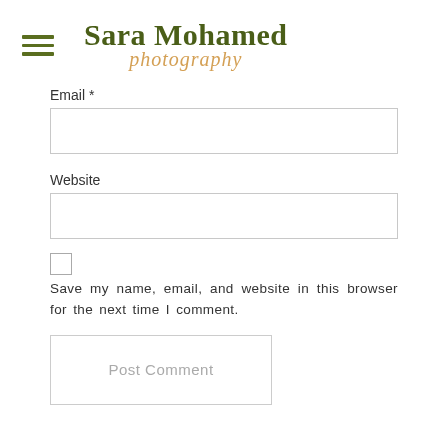Sara Mohamed photography
Email *
Website
Save my name, email, and website in this browser for the next time I comment.
Post Comment